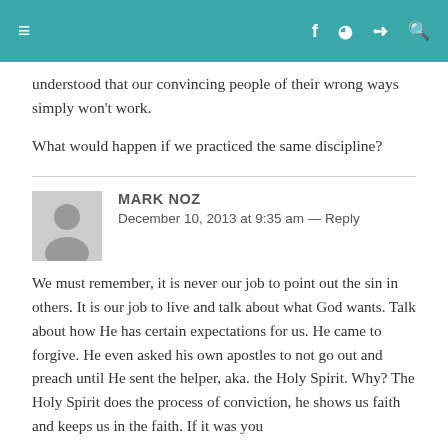≡  f  RSS  Twitter  Search
understood that our convincing people of their wrong ways simply won't work.
What would happen if we practiced the same discipline?
MARK NOZ
December 10, 2013 at 9:35 am — Reply
We must remember, it is never our job to point out the sin in others. It is our job to live and talk about what God wants. Talk about how He has certain expectations for us. He came to forgive. He even asked his own apostles to not go out and preach until He sent the helper, aka. the Holy Spirit. Why? The Holy Spirit does the process of conviction, he shows us faith and keeps us in the faith. If it was you or it would be a one step process of God's grace but